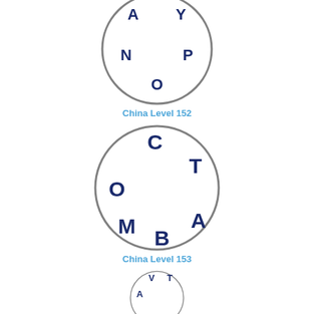[Figure (illustration): Circle puzzle for China Level 152 with letters A, Y, N, P, O arranged in a circle]
China Level 152
[Figure (illustration): Circle puzzle for China Level 153 with letters C, T, O, A, M, B arranged in a circle]
China Level 153
[Figure (illustration): Circle puzzle (partially visible) with letters V, T, A visible at top]